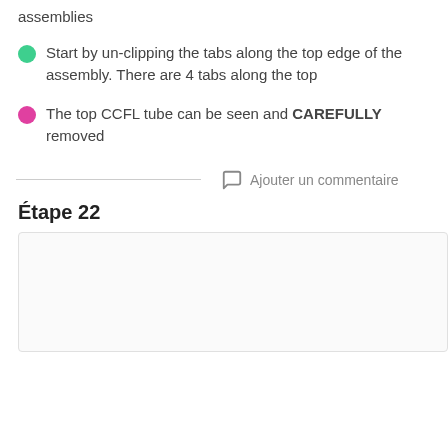assemblies
Start by un-clipping the tabs along the top edge of the assembly. There are 4 tabs along the top
The top CCFL tube can be seen and CAREFULLY removed
Ajouter un commentaire
Étape 22
[Figure (other): Empty bordered image box for step 22]